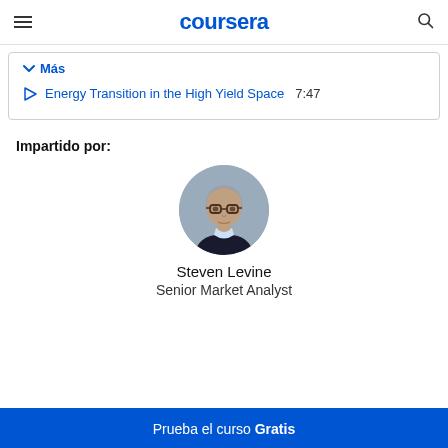coursera
Más
Energy Transition in the High Yield Space 7:47
Impartido por:
[Figure (photo): Circular profile photo of Steven Levine, a middle-aged man with gray hair and glasses wearing a suit.]
Steven Levine
Senior Market Analyst
Prueba el curso Gratis